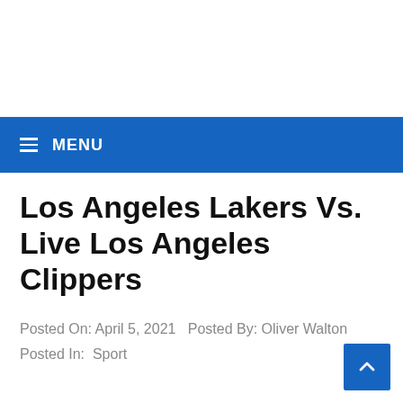☰ MENU
Los Angeles Lakers Vs. Live Los Angeles Clippers
Posted On: April 5, 2021   Posted By: Oliver Walton
Posted In:  Sport